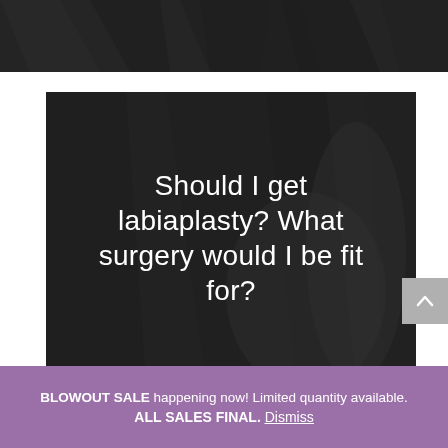[Figure (photo): Dark geometric/abstract background used as page header banner]
[Figure (photo): Dark background image with centered white text reading: Should I get labiaplasty? What surgery would I be fit for?]
Should I get labiaplasty? What surgery would I be fit for?
BLOWOUT SALE happening now! Limited quantity available. ALL SALES FINAL. Dismiss